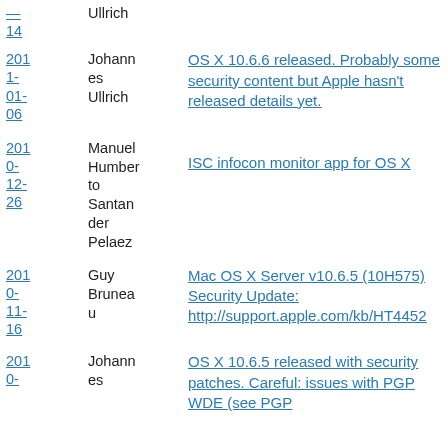| Date | Author | Title/Link |
| --- | --- | --- |
| — 14 | Ullrich |  |
| 2011-01-06 | Johannes Ullrich | OS X 10.6.6 released. Probably some security content but Apple hasn't released details yet. |
| 2010-12-26 | Manuel Humberto Santander Pelaez | ISC infocon monitor app for OS X |
| 2010-11-16 | Guy Bruneau | Mac OS X Server v10.6.5 (10H575) Security Update: http://support.apple.com/kb/HT4452 |
| 2010- | Johannes | OS X 10.6.5 released with security patches. Careful: issues with PGP WDE (see PGP... |